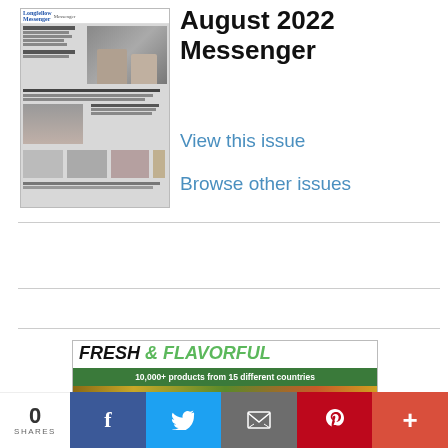[Figure (screenshot): Thumbnail image of the Longfellow Messenger newspaper front page for August 2022]
August 2022 Messenger
View this issue
Browse other issues
[Figure (illustration): Fresh & Flavorful advertisement banner reading 'FRESH & FLAVORFUL' with tagline '10,000+ products from 15 different countries' on a green banner, with food imagery below]
0 SHARES  [Facebook] [Twitter] [Email] [Pinterest] [More]